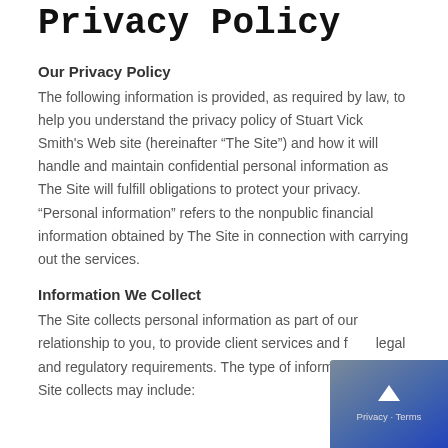Privacy Policy
Our Privacy Policy
The following information is provided, as required by law, to help you understand the privacy policy of Stuart Vick Smith's Web site (hereinafter “The Site”) and how it will handle and maintain confidential personal information as The Site will fulfill obligations to protect your privacy. “Personal information” refers to the nonpublic financial information obtained by The Site in connection with carrying out the services.
Information We Collect
The Site collects personal information as part of our relationship to you, to provide client services and fulfill legal and regulatory requirements. The type of information The Site collects may include: